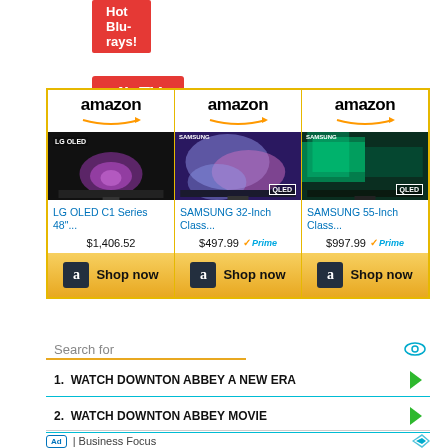Hot Blu-rays!
4k TV Deals
[Figure (infographic): Amazon ad grid showing three TV products: LG OLED C1 Series 48" at $1,406.52, SAMSUNG 32-Inch Class at $497.99 with Prime, SAMSUNG 55-Inch Class at $997.99 with Prime. Each has Amazon logo, product image, title, price, and Shop now button.]
Search for
1.  WATCH DOWNTON ABBEY A NEW ERA
2.  WATCH DOWNTON ABBEY MOVIE
Ad | Business Focus